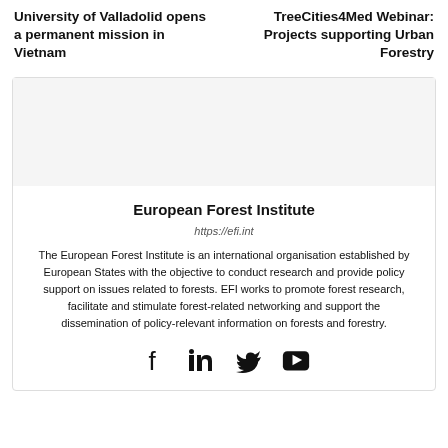University of Valladolid opens a permanent mission in Vietnam
TreeCities4Med Webinar: Projects supporting Urban Forestry
European Forest Institute
https://efi.int
The European Forest Institute is an international organisation established by European States with the objective to conduct research and provide policy support on issues related to forests. EFI works to promote forest research, facilitate and stimulate forest-related networking and support the dissemination of policy-relevant information on forests and forestry.
[Figure (infographic): Social media icons for Facebook, LinkedIn, Twitter/X, and YouTube]